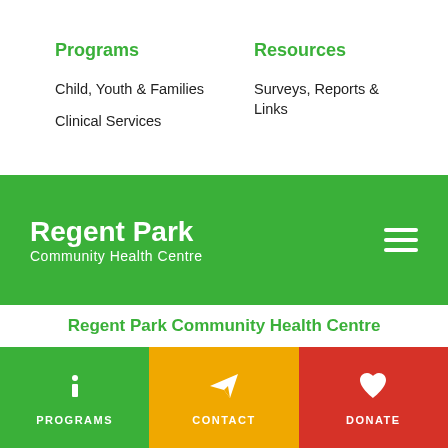Programs
Child, Youth & Families
Clinical Services
Resources
Surveys, Reports & Links
Regent Park Community Health Centre
Regent Park Community Health Centre
PROGRAMS
CONTACT
DONATE